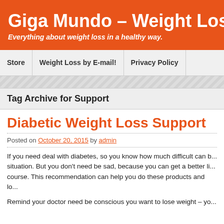Giga Mundo – Weight Loss
Everything about weight loss in a healthy way.
Store
Weight Loss by E-mail!
Privacy Policy
Tag Archive for Support
Diabetic Weight Loss Support
Posted on October 20, 2015 by admin
If you need deal with diabetes, so you know how much difficult can b... situation. But you don't need be sad, because you can get a better li... course. This recommendation can help you do these products and lo...
Remind your doctor need be conscious you want to lose weight – yo...